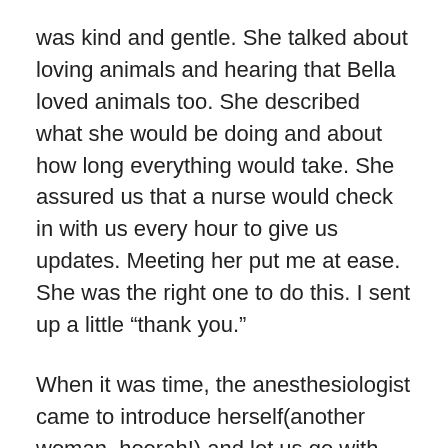was kind and gentle. She talked about loving animals and hearing that Bella loved animals too. She described what she would be doing and about how long everything would take. She assured us that a nurse would check in with us every hour to give us updates. Meeting her put me at ease. She was the right one to do this. I sent up a little “thank you.”
When it was time, the anesthesiologist came to introduce herself(another woman, hoorah!) and let us go with her as she wheeled Bella to the OR. Though Bella was already asleep, my mom and I gave her kisses through our masks and watched as they wheeled her off. My heart pounded and my chest hurt as I watched her go.
Due to COVID, the regular surgical waiting rooms were closed. My mom and I sat on a bridge that connected two